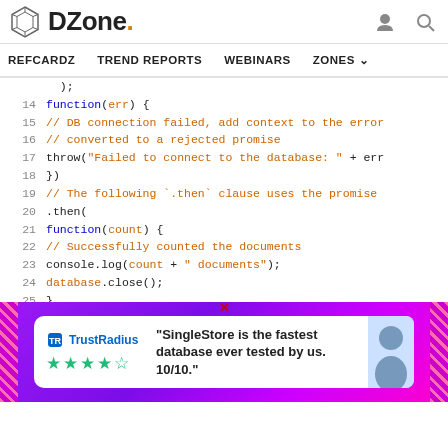DZone. | REFCARDZ  TREND REPORTS  WEBINARS  ZONES
[Figure (screenshot): Code editor screenshot showing JavaScript code lines 13-26 with syntax highlighting. Lines 14-18 show a function handling err with DB connection failure comment, rejected promise comment, and throw statement. Lines 19-20 show a .then( clause comment and .then( call. Lines 21-25 show function(count) with success comment, console.log and database.close(). Line 26 shows start of function(err).]
[Figure (other): TrustRadius advertisement overlay with purple gradient background, white card containing TrustRadius logo with star ratings, and quote: SingleStore is the fastest database ever tested by us. 10/10.]
31 }) 32 }